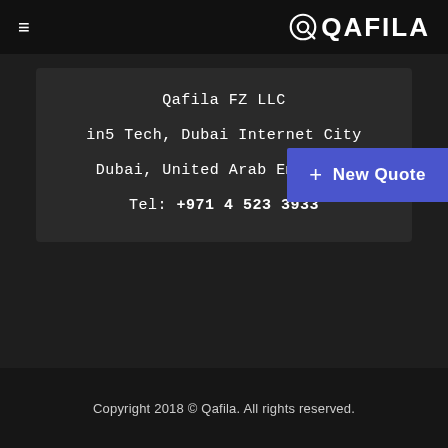≡ QAFILA
Qafila FZ LLC
in5 Tech, Dubai Internet City
Dubai, United Arab Emirates
Tel: +971 4 523 3933
+ New Quote
Copyright 2018 © Qafila. All rights reserved.